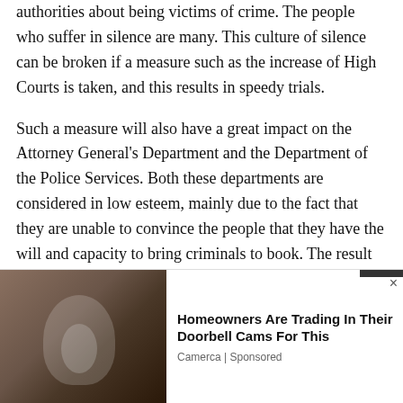authorities about being victims of crime. The people who suffer in silence are many. This culture of silence can be broken if a measure such as the increase of High Courts is taken, and this results in speedy trials.
Such a measure will also have a great impact on the Attorney General's Department and the Department of the Police Services. Both these departments are considered in low esteem, mainly due to the fact that they are unable to convince the people that they have the will and capacity to bring criminals to book. The result isa great demoralisation among the staff of these institutions. Speeding up of trials into
[Figure (photo): Advertisement showing a security camera mounted on a wall, promoting Homeowners Are Trading In Their Doorbell Cams For This by Camerca (Sponsored)]